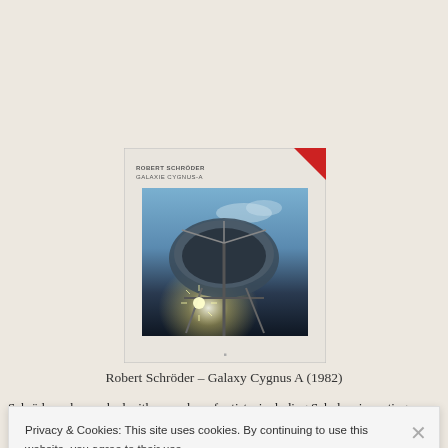[Figure (photo): Album cover for Robert Schröder – Galaxy Cygnus A (1982). White album sleeve with small text at top reading 'ROBERT SCHRÖDER / GALAXIE CYGNUS-A', a red corner triangle, and a large inner photo of a radio telescope dish against a blue sky.]
Robert Schröder – Galaxy Cygnus A (1982)
Schröder, who worked with a number of artists, including Schulze, inventing new
Privacy & Cookies: This site uses cookies. By continuing to use this website, you agree to their use.
To find out more, including how to control cookies, see here: Cookie Policy
Close and accept